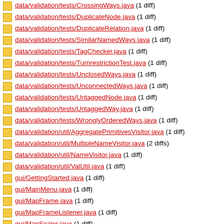data/validation/tests/CrossingWays.java (1 diff)
data/validation/tests/DuplicateNode.java (1 diff)
data/validation/tests/DuplicateRelation.java (1 diff)
data/validation/tests/SimilarNamedWays.java (1 diff)
data/validation/tests/TagChecker.java (1 diff)
data/validation/tests/TurnrestrictionTest.java (1 diff)
data/validation/tests/UnclosedWays.java (1 diff)
data/validation/tests/UnconnectedWays.java (1 diff)
data/validation/tests/UntaggedNode.java (1 diff)
data/validation/tests/UntaggedWay.java (1 diff)
data/validation/tests/WronglyOrderedWays.java (1 diff)
data/validation/util/AggregatePrimitivesVisitor.java (1 diff)
data/validation/util/MultipleNameVisitor.java (2 diffs)
data/validation/util/NameVisitor.java (1 diff)
data/validation/util/ValUtil.java (1 diff)
gui/GettingStarted.java (1 diff)
gui/MainMenu.java (1 diff)
gui/MapFrame.java (1 diff)
gui/MapFrameListener.java (1 diff)
gui/MapScaler.java (1 diff)
gui/MapStatus.java (1 diff)